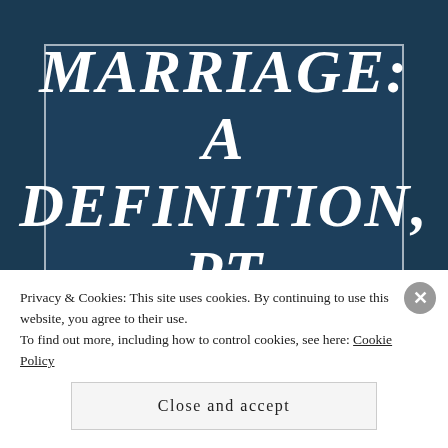MARRIAGE: A DEFINITION, PT 2, WASHES WHITE
Privacy & Cookies: This site uses cookies. By continuing to use this website, you agree to their use.
To find out more, including how to control cookies, see here: Cookie Policy
Close and accept